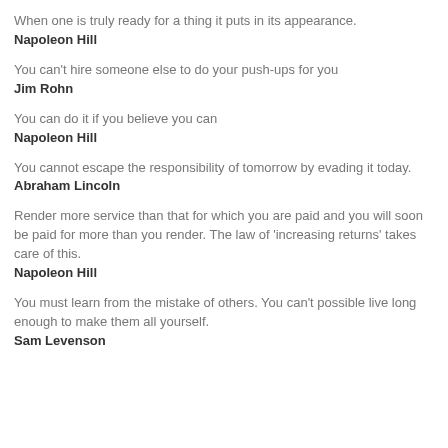When one is truly ready for a thing it puts in its appearance.
Napoleon Hill
You can't hire someone else to do your push-ups for you
Jim Rohn
You can do it if you believe you can
Napoleon Hill
You cannot escape the responsibility of tomorrow by evading it today.
Abraham Lincoln
Render more service than that for which you are paid and you will soon be paid for more than you render. The law of 'increasing returns' takes care of this.
Napoleon Hill
You must learn from the mistake of others. You can't possible live long enough to make them all yourself.
Sam Levenson